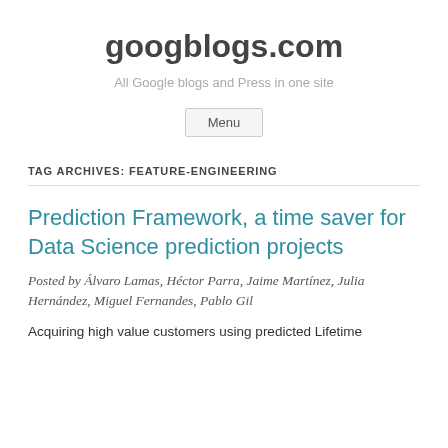googblogs.com
All Google blogs and Press in one site
Menu
TAG ARCHIVES: FEATURE-ENGINEERING
Prediction Framework, a time saver for Data Science prediction projects
Posted by Álvaro Lamas, Héctor Parra, Jaime Martínez, Julia Hernández, Miguel Fernandes, Pablo Gil
Acquiring high value customers using predicted Lifetime